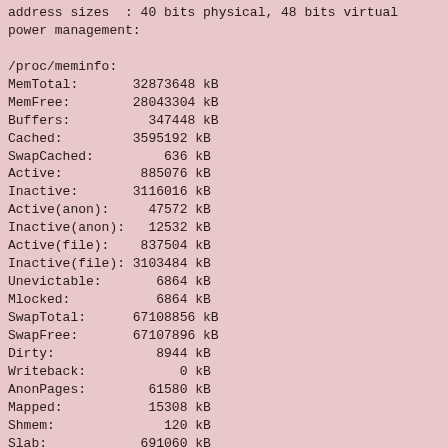address sizes  : 40 bits physical, 48 bits virtual
power management:

/proc/meminfo:
MemTotal:       32873648 kB
MemFree:        28043304 kB
Buffers:          347448 kB
Cached:         3595192 kB
SwapCached:         636 kB
Active:          885076 kB
Inactive:       3116016 kB
Active(anon):     47572 kB
Inactive(anon):   12532 kB
Active(file):    837504 kB
Inactive(file): 3103484 kB
Unevictable:       6864 kB
Mlocked:           6864 kB
SwapTotal:      67108856 kB
SwapFree:       67107896 kB
Dirty:             8944 kB
Writeback:            0 kB
AnonPages:        61580 kB
Mapped:           15308 kB
Shmem:              120 kB
Slab:            691060 kB
SReclaimable:    135444 kB
SUnreclaim:      555616 kB
KernelStack:       1488 kB
PageTables:        4216 kB
NFS_Unstable:         0 kB
Bounce:               0 kB
WritebackTmp: